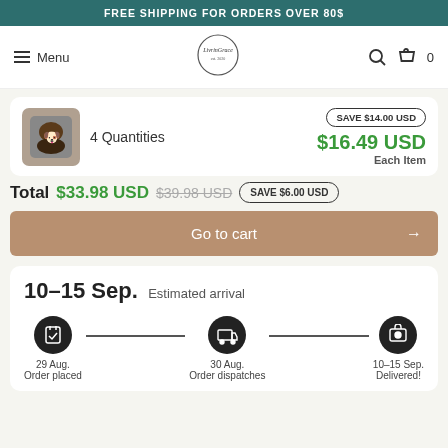FREE SHIPPING FOR ORDERS OVER 80$
Menu | LivrinGrace logo | 0
4 Quantities | SAVE $14.00 USD | $16.49 USD | Each Item
Total $33.98 USD $39.98 USD SAVE $6.00 USD
Go to cart →
10-15 Sep. Estimated arrival
29 Aug. Order placed | 30 Aug. Order dispatches | 10-15 Sep. Delivered!